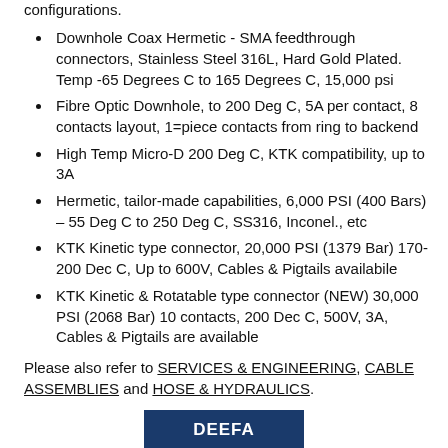configurations.
Downhole Coax Hermetic - SMA feedthrough connectors, Stainless Steel 316L, Hard Gold Plated. Temp -65 Degrees C to 165 Degrees C, 15,000 psi
Fibre Optic Downhole, to 200 Deg C, 5A per contact, 8 contacts layout, 1=piece contacts from ring to backend
High Temp Micro-D 200 Deg C, KTK compatibility, up to 3A
Hermetic, tailor-made capabilities, 6,000 PSI (400 Bars) – 55 Deg C to 250 Deg C, SS316, Inconel., etc
KTK Kinetic type connector, 20,000 PSI (1379 Bar) 170-200 Dec C, Up to 600V, Cables & Pigtails availabile
KTK Kinetic & Rotatable type connector (NEW) 30,000 PSI (2068 Bar) 10 contacts, 200 Dec C, 500V, 3A, Cables & Pigtails are available
Please also refer to SERVICES & ENGINEERING, CABLE ASSEMBLIES and HOSE & HYDRAULICS.
DEEFA